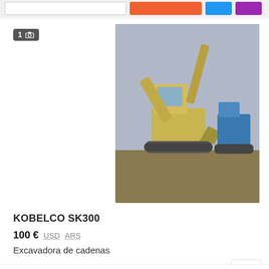[Figure (photo): Kobelco SK300 tracked excavator on a construction yard with other machinery in the background, cloudy sky]
KOBELCO SK300
100 € USD ARS
Excavadora de cadenas
Rumanía
[Figure (photo): Kobelco excavator seen from the side, parked among trees, white cab visible]